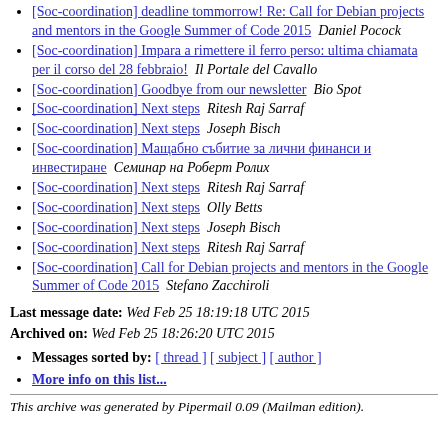[Soc-coordination] deadline tommorrow! Re: Call for Debian projects and mentors in the Google Summer of Code 2015   Daniel Pocock
[Soc-coordination] Impara a rimettere il ferro perso: ultima chiamata per il corso del 28 febbraio!   Il Portale del Cavallo
[Soc-coordination] Goodbye from our newsletter   Bio Spot
[Soc-coordination] Next steps   Ritesh Raj Sarraf
[Soc-coordination] Next steps   Joseph Bisch
[Soc-coordination] Мащабно събитие за лични финанси и инвестиране   Семинар на Роберт Ролих
[Soc-coordination] Next steps   Ritesh Raj Sarraf
[Soc-coordination] Next steps   Olly Betts
[Soc-coordination] Next steps   Joseph Bisch
[Soc-coordination] Next steps   Ritesh Raj Sarraf
[Soc-coordination] Call for Debian projects and mentors in the Google Summer of Code 2015   Stefano Zacchiroli
Last message date: Wed Feb 25 18:19:18 UTC 2015
Archived on: Wed Feb 25 18:26:20 UTC 2015
Messages sorted by: [ thread ] [ subject ] [ author ]
More info on this list...
This archive was generated by Pipermail 0.09 (Mailman edition).